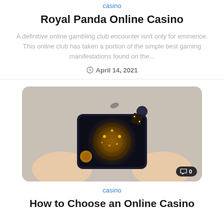casino
Royal Panda Online Casino
A definitive online gambling club encounter isn't only for eminence. This online club has taken a portion of the simple best gaming manifestations found on the...
April 14, 2021
[Figure (photo): Hands holding a smartphone with casino game elements (roulette, dice, chips) floating out of the screen in augmented reality style]
casino
How to Choose an Online Casino